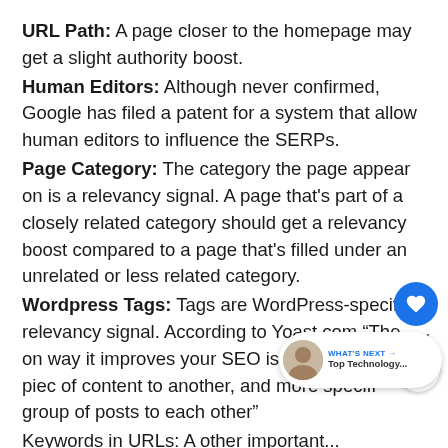URL Path: A page closer to the homepage may get a slight authority boost.
Human Editors: Although never confirmed, Google has filed a patent for a system that allow human editors to influence the SERPs.
Page Category: The category the page appear on is a relevancy signal. A page that's part of a closely related category should get a relevancy boost compared to a page that's filled under an unrelated or less related category.
Wordpress Tags: Tags are WordPress-specific relevancy signal. According to Yoast.com “The only way it improves your SEO is by relating one piece of content to another, and more specifically, a group of posts to each other”
Keywords in URLs: A other important...